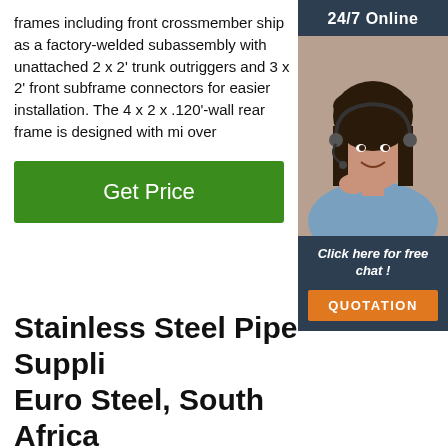frames including front crossmember ship as a factory-welded subassembly with unattached 2 x 2' trunk outriggers and 3 x 2' front subframe connectors for easier installation. The 4 x 2 x .120'-wall rear frame is designed with mi over
[Figure (photo): Customer service agent (woman with headset) with '24/7 Online' header, 'Click here for free chat!' text, and orange 'QUOTATION' button on dark navy sidebar]
Get Price
Stainless Steel Pipe Suppli Euro Steel, South Africa
Euro Steel stocks standard schedule piping, specification tube, heat exchanger tube, decorative tube, in house standard and custom made longitudinally welded large bore pipe and ISO Metric pipe. All stock of Stainless steel pipes,